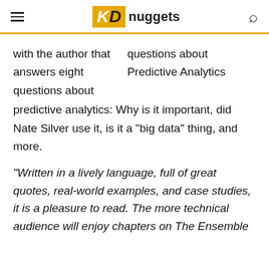KD nuggets
with the author that answers eight questions about predictive analytics: Why is it important, did Nate Silver use it, is it a "big data" thing, and more.
questions about Predictive Analytics
"Written in a lively language, full of great quotes, real-world examples, and case studies, it is a pleasure to read. The more technical audience will enjoy chapters on The Ensemble